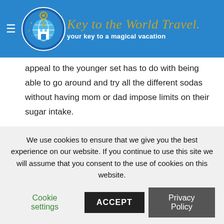Key to the World Travel® — your key to a magical vacation
appeal to the younger set has to do with being able to go around and try all the different sodas without having mom or dad impose limits on their sugar intake.
Test Track post show area: While the Test Track® Presented by Chevrolet® ride is a thrill for everyone (who meets the 40″ height requirement), the post show area after disembarking is quite attractive to pre-teens. You can play interactive
We use cookies to ensure that we give you the best experience on our website. If you continue to use this site we will assume that you consent to the use of cookies on this website.
Cookie settings  ACCEPT  Privacy Policy